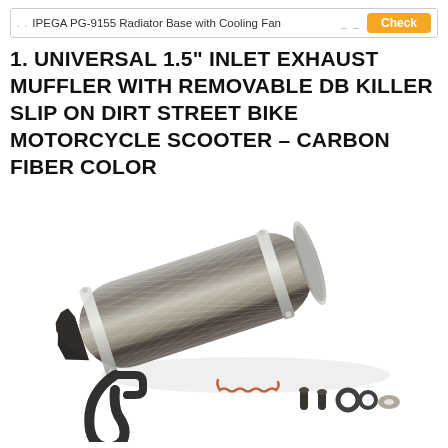IPEGA PG-9155 Radiator Base with Cooling Fan  Check
1. UNIVERSAL 1.5" INLET EXHAUST MUFFLER WITH REMOVABLE DB KILLER SLIP ON DIRT STREET BIKE MOTORCYCLE SCOOTER – CARBON FIBER COLOR
[Figure (photo): Product photo of a carbon fiber pattern exhaust muffler with metal clamp rings, angled exhaust tip, along with mounting bracket, springs, bolts, and washers shown below]